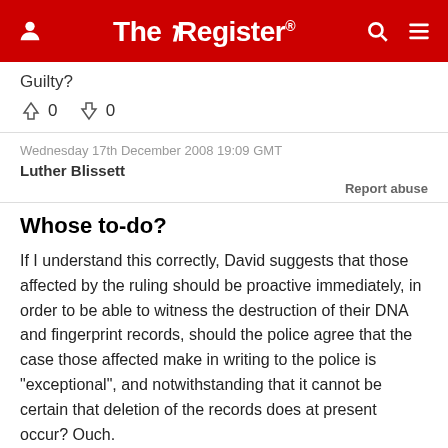The Register
Guilty?
↑0  ↓0
Wednesday 17th December 2008 19:09 GMT
Luther Blissett
Report abuse
Whose to-do?
If I understand this correctly, David suggests that those affected by the ruling should be proactive immediately, in order to be able to witness the destruction of their DNA and fingerprint records, should the police agree that the case those affected make in writing to the police is "exceptional", and notwithstanding that it cannot be certain that deletion of the records does at present occur? Ouch.
It's evident (eg. Irish referendum) that sometimes politicians do not understand the word No, but I cannot...